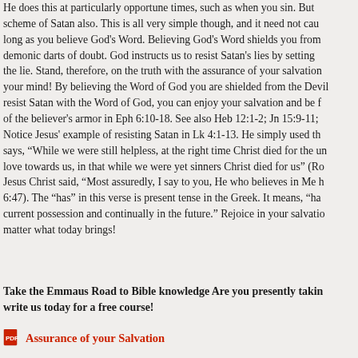He does this at particularly opportune times, such as when you sin. But scheme of Satan also. This is all very simple though, and it need not cau long as you believe God's Word. Believing God's Word shields you from demonic darts of doubt. God instructs us to resist Satan's lies by setting the lie. Stand, therefore, on the truth with the assurance of your salvation your mind! By believing the Word of God you are shielded from the Devil resist Satan with the Word of God, you can enjoy your salvation and be f of the believer's armor in Eph 6:10-18. See also Heb 12:1-2; Jn 15:9-11; Notice Jesus' example of resisting Satan in Lk 4:1-13. He simply used th says, "While we were still helpless, at the right time Christ died for the un love towards us, in that while we were yet sinners Christ died for us" (Ro
Jesus Christ said, "Most assuredly, I say to you, He who believes in Me h 6:47). The "has" in this verse is present tense in the Greek. It means, "ha current possession and continually in the future." Rejoice in your salvatio matter what today brings!
Take the Emmaus Road to Bible knowledge Are you presently takin write us today for a free course!
Assurance of your Salvation